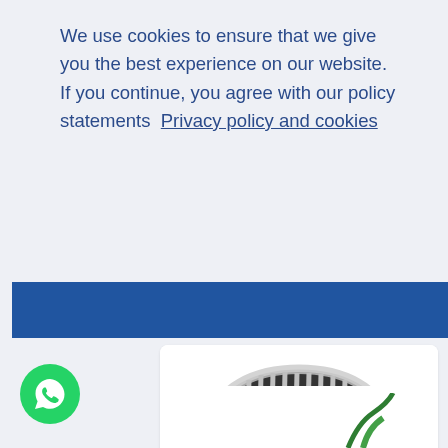We use cookies to ensure that we give you the best experience on our website. If you continue, you agree with our policy statements  Privacy policy and cookies
Ok
[Figure (photo): BMW E46 kidney grille closeup photo]
E46 4 DOOR GRILL
E46 (1998-2004)   $25
[Figure (logo): WhatsApp chat bubble icon on green circle]
[Figure (photo): Second product card partially visible at bottom]